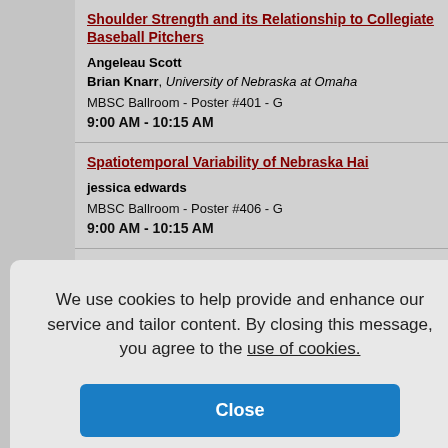Shoulder Strength and its Relationship to Collegiate Baseball Pitchers
Angeleau Scott
Brian Knarr, University of Nebraska at Omaha
MBSC Ballroom - Poster #401 - G
9:00 AM - 10:15 AM
Spatiotemporal Variability of Nebraska Hai...
jessica edwards
MBSC Ballroom - Poster #406 - G
9:00 AM - 10:15 AM
The Behavioral Effects of Browse on Zoo-K... (Loxodonta africana)
...es on Low...
9:00 AM - 10:15 AM
We use cookies to help provide and enhance our service and tailor content. By closing this message, you agree to the use of cookies.